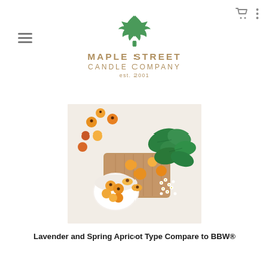[Figure (logo): Maple Street Candle Company logo with green maple leaf icon above text reading MAPLE STREET CANDLE COMPANY est. 2001 in golden/tan color]
[Figure (photo): Overhead photo of fresh apricots scattered on a white surface with some in a white bowl on a wooden cutting board, surrounded by green mint leaves and small white elderflower blooms]
Lavender and Spring Apricot Type Compare to BBW®